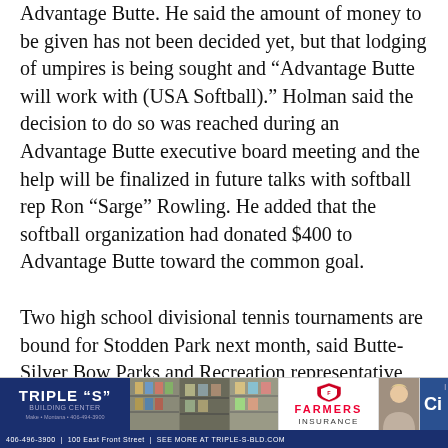Advantage Butte. He said the amount of money to be given has not been decided yet, but that lodging of umpires is being sought and “Advantage Butte will work with (USA Softball).” Holman said the decision to do so was reached during an Advantage Butte executive board meeting and the help will be finalized in future talks with softball rep Ron “Sarge” Rowling. He added that the softball organization had donated $400 to Advantage Butte toward the common goal.
Two high school divisional tennis tournaments are bound for Stodden Park next month, said Butte-Silver Bow Parks and Recreation representative Ed Heard
[Figure (other): Advertisement bar at bottom of page with Triple S Building Center, a store photo, Farmers Insurance logo, a person photo, and Ci partial logo]